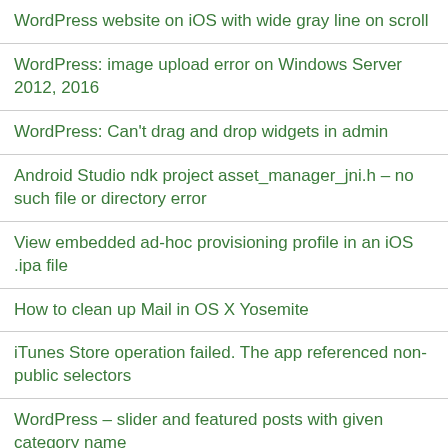WordPress website on iOS with wide gray line on scroll
WordPress: image upload error on Windows Server 2012, 2016
WordPress: Can't drag and drop widgets in admin
Android Studio ndk project asset_manager_jni.h – no such file or directory error
View embedded ad-hoc provisioning profile in an iOS .ipa file
How to clean up Mail in OS X Yosemite
iTunes Store operation failed. The app referenced non-public selectors
WordPress – slider and featured posts with given category name